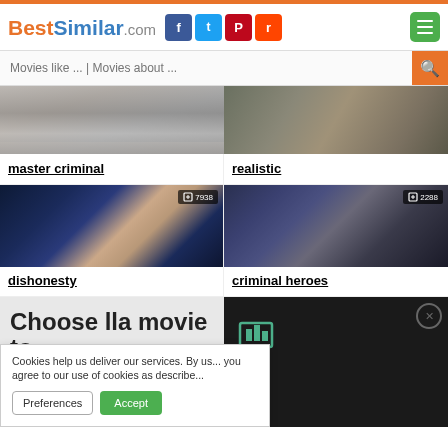BestSimilar.com
Movies like ... | Movies about ...
[Figure (screenshot): Partial movie image top-left (blurred face close-up)]
[Figure (screenshot): Partial movie image top-right (soldiers/action scene)]
master criminal
realistic
[Figure (screenshot): Movie image showing crossed fingers, badge: 7938]
[Figure (screenshot): Movie image showing three men, badge: 2288]
dishonesty
criminal heroes
Choose lla movie to...
[Figure (screenshot): Dark panel with Bandsintown-style icon and close button]
Cookies help us deliver our services. By us... you agree to our use of cookies as describe...